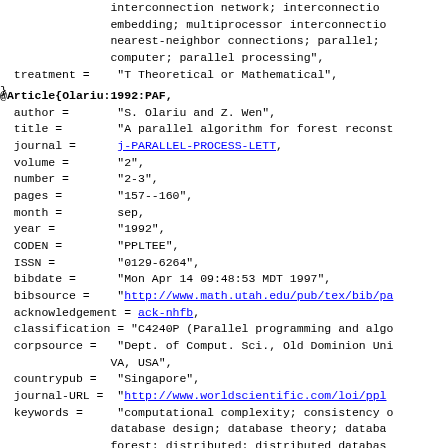interconnection network; interconnection embedding; multiprocessor interconnection nearest-neighbor connections; parallel; computer; parallel processing",
  treatment =    "T Theoretical or Mathematical",
}
@Article{Olariu:1992:PAF,
  author =       "S. Olariu and Z. Wen",
  title =        "A parallel algorithm for forest reconst
  journal =      j-PARALLEL-PROCESS-LETT,
  volume =       "2",
  number =       "2-3",
  pages =        "157--160",
  month =        sep,
  year =         "1992",
  CODEN =        "PPLTEE",
  ISSN =         "0129-6264",
  bibdate =      "Mon Apr 14 09:48:53 MDT 1997",
  bibsource =    "http://www.math.utah.edu/pub/tex/bib/pa
  acknowledgement = ack-nhfb,
  classification = "C4240P (Parallel programming and algo
  corpsource =   "Dept. of Comput. Sci., Old Dominion Uni VA, USA",
  countrypub =   "Singapore",
  journal-URL =  "http://www.worldscientific.com/loi/ppl
  keywords =     "computational complexity; consistency o database design; database theory; databa forest; distributed; distributed databas forest; integer; leaf-to-root paths; par algorithm; parallel algorithms; reconst